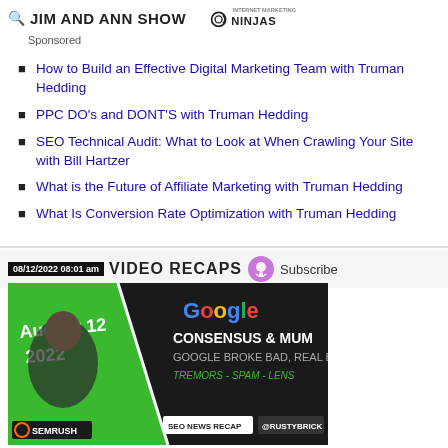JIM AND ANN SHOW | INTERNET MARKETING NINJAS
Sponsored
How to Build an Effective Digital Marketing Team with Truman Hedding
PPC DO's and DONT'S with Truman Hedding
SEO Technical Audit: What to Look at When Crawling Your Site with Bill Hartzer
What is the Future of Affiliate Marketing with Truman Hedding
What Is Conversion Rate Optimization with Truman Hedding
08/12/2022 08:01 am  VIDEO RECAPS  Subscribe
[Figure (screenshot): Video thumbnail showing a man in a black hoodie with text: August 12 2022, Google, CONSENSUS & MUM, GOOGLE BROKE BAD, REAL BAD, TREMORS - SPAM - LENS, SEO NEWS RECAP, @RUSTYBRICK, SEMRUSH logo]